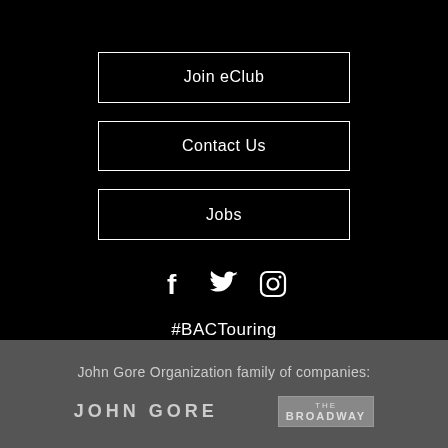Join eClub
Contact Us
Jobs
[Figure (infographic): Three social media icons: Facebook (f), Twitter (bird), Instagram (camera outline), displayed in white on black background]
#BACTouring
John Gore Organization family of companies:
[Figure (logo): John Gore logo text in grey on dark background]
[Figure (logo): The Broadway logo in grey box]